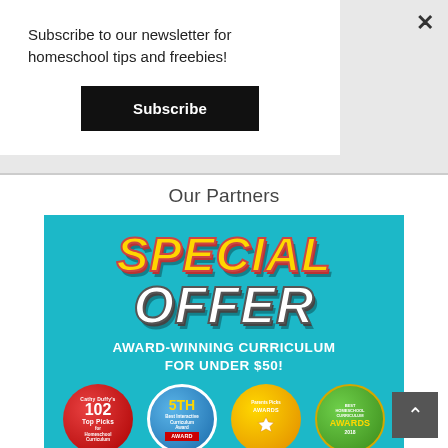Subscribe to our newsletter for homeschool tips and freebies!
Subscribe
Our Partners
[Figure (infographic): Special Offer advertisement banner with teal/cyan background. Large stylized text reads 'SPECIAL OFFER' in yellow and white bold italic letters. Below: 'AWARD-WINNING CURRICULUM FOR UNDER $50!' in white bold text. Four award badges shown: Cathy Duffy's 102 Top Picks, 5th Best Interactive Curriculum Award, Parents' Picks Awards, and Best Homeschool Curriculum Awards 2018. Green bar at bottom.]